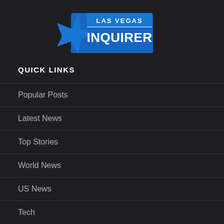[Figure (logo): Las Vegas Inquirer logo — blue star badge with white text reading LAS VEGAS on top and INQUIRER in large bold letters below, on a blue rectangular background]
QUICK LINKS
Popular Posts
Latest News
Top Stories
World News
US News
Tech
Health
Politics